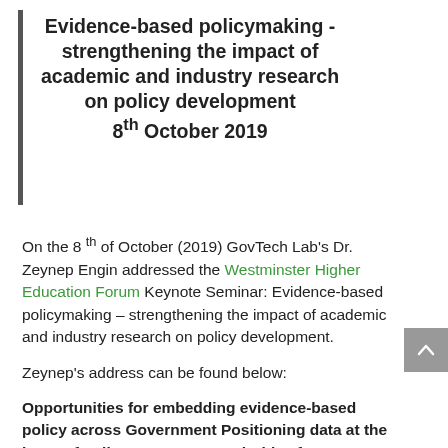Evidence-based policymaking - strengthening the impact of academic and industry research on policy development 8th October 2019
On the 8th of October (2019) GovTech Lab's Dr. Zeynep Engin addressed the Westminster Higher Education Forum Keynote Seminar: Evidence-based policymaking – strengthening the impact of academic and industry research on policy development.
Zeynep's address can be found below:
Opportunities for embedding evidence-based policy across Government Positioning data at the heart of policy processes – priorities for